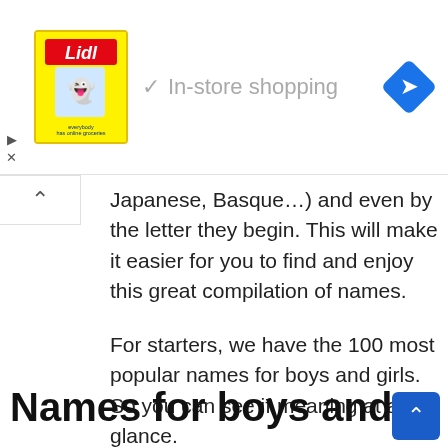[Figure (other): Advertisement banner: Lidl logo with yellow background, checkmark icon and 'In-store shopping' text in gray, blue diamond navigation icon on right]
Japanese, Basque…) and even by the letter they begin. This will make it easier for you to find and enjoy this great compilation of names.
For starters, we have the 100 most popular names for boys and girls. So you can see if meaning at a glance.
You might be interested in Meaning of The Name Edward | Characteristics of famous people
Names for boys and